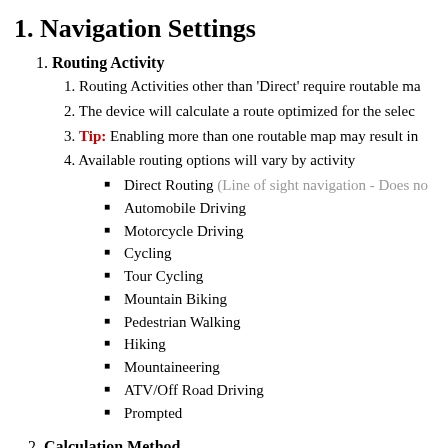1. Navigation Settings
1. Routing Activity
1. Routing Activities other than 'Direct' require routable ma
2. The device will calculate a route optimized for the selec
3. Tip: Enabling more than one routable map may result in
4. Available routing options will vary by activity
Direct Routing (Line of sight navigation - Does no
Automobile Driving
Motorcycle Driving
Cycling
Tour Cycling
Mountain Biking
Pedestrian Walking
Hiking
Mountaineering
ATV/Off Road Driving
Prompted
2. Calculation Method
1. Available calculation options will vary by activity